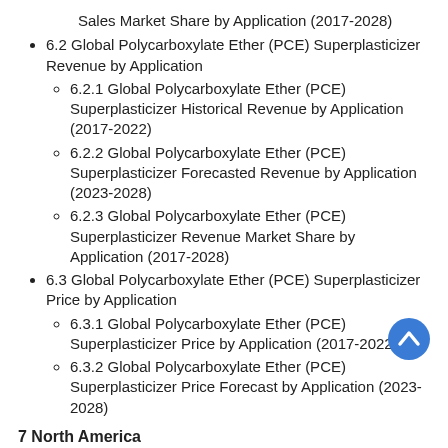Sales Market Share by Application (2017-2028)
6.2 Global Polycarboxylate Ether (PCE) Superplasticizer Revenue by Application
6.2.1 Global Polycarboxylate Ether (PCE) Superplasticizer Historical Revenue by Application (2017-2022)
6.2.2 Global Polycarboxylate Ether (PCE) Superplasticizer Forecasted Revenue by Application (2023-2028)
6.2.3 Global Polycarboxylate Ether (PCE) Superplasticizer Revenue Market Share by Application (2017-2028)
6.3 Global Polycarboxylate Ether (PCE) Superplasticizer Price by Application
6.3.1 Global Polycarboxylate Ether (PCE) Superplasticizer Price by Application (2017-2022)
6.3.2 Global Polycarboxylate Ether (PCE) Superplasticizer Price Forecast by Application (2023-2028)
7 North America
7.1 North America Polycarboxylate Ether (PCE) Superplasticizer Market Size by Type